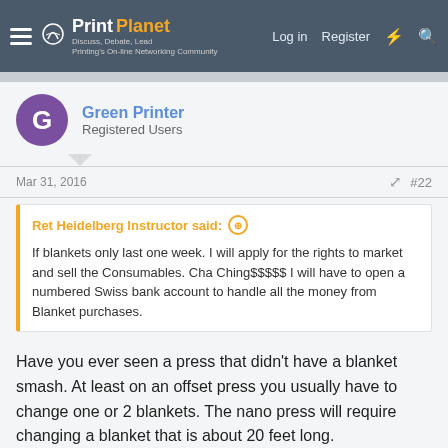PrintPlanet — Discuss, Debate, Lead — Printing's On-line Networking Community | Log in | Register
Green Printer
Registered Users
Mar 31, 2016  #22
Ret Heidelberg Instructor said:  If blankets only last one week. I will apply for the rights to market and sell the Consumables. Cha Ching$$$$$ I will have to open a numbered Swiss bank account to handle all the money from Blanket purchases.
Have you ever seen a press that didn't have a blanket smash. At least on an offset press you usually have to change one or 2 blankets. The nano press will require changing a blanket that is about 20 feet long.